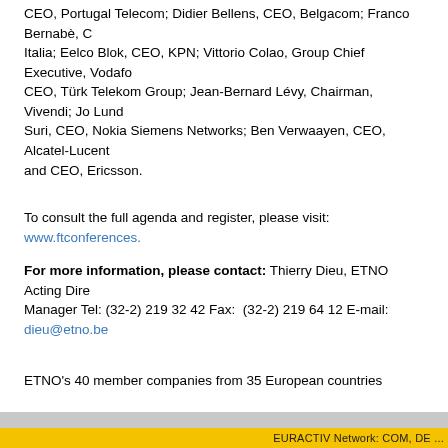CEO, Portugal Telecom; Didier Bellens, CEO, Belgacom; Franco Bernabè, CEO, Italia; Eelco Blok, CEO, KPN; Vittorio Colao, Group Chief Executive, Vodafo CEO, Türk Telekom Group; Jean-Bernard Lévy, Chairman, Vivendi; Jo Lund Suri, CEO, Nokia Siemens Networks; Ben Verwaayen, CEO, Alcatel-Lucent and CEO, Ericsson.
To consult the full agenda and register, please visit: www.ftconferences.
For more information, please contact: Thierry Dieu, ETNO Acting Dire Manager Tel: (32-2) 219 32 42 Fax: (32-2) 219 64 12 E-mail: dieu@etno.be
ETNO's 40 member companies from 35 European countries represent a s activity in Europe. They account for an aggregate annual turnover of mor employ over one million people across Europe. ETNO companies are the and are committed to its continual growth in Europe.
EURACTIV Network: COM, DE ...